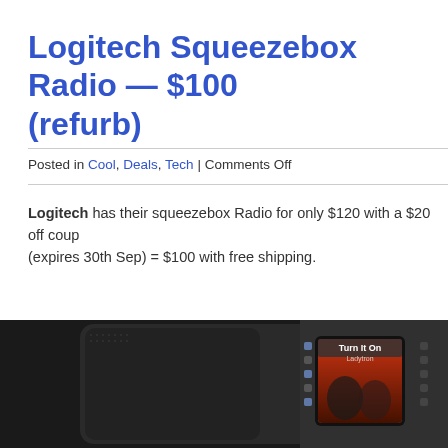Logitech Squeezebox Radio — $100 (refurb)
Posted in Cool, Deals, Tech | Comments Off
Logitech has their squeezebox Radio for only $120 with a $20 off coupon (expires 30th Sep) = $100 with free shipping.
[Figure (photo): Photo of the Logitech Squeezebox Radio device, a black compact internet radio with a small color display showing 'Turn It On' by Ladytron, with illuminated buttons on the side]